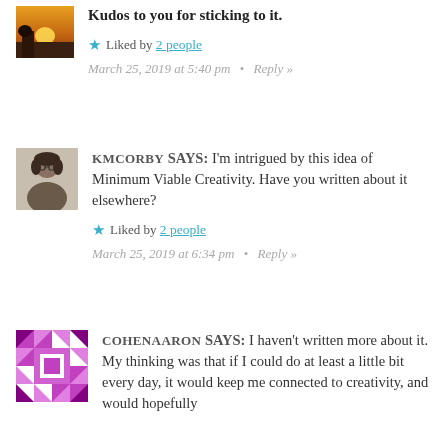Kudos to you for sticking to it.
★ Liked by 2 people
March 25, 2019 at 5:40 pm · Reply »
KMCORBY SAYS: I'm intrigued by this idea of Minimum Viable Creativity. Have you written about it elsewhere?
★ Liked by 2 people
March 25, 2019 at 6:34 pm · Reply »
COHENAARON SAYS: I haven't written more about it. My thinking was that if I could do at least a little bit every day, it would keep me connected to creativity, and would hopefully